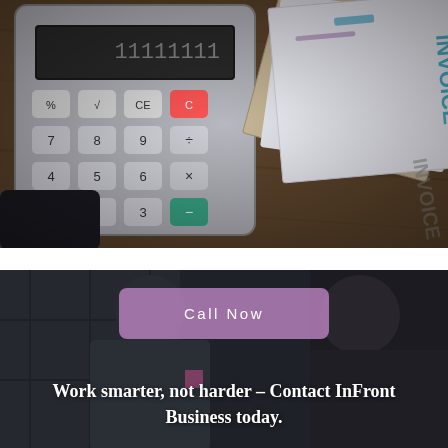[Figure (photo): Overhead photo of a calculator and invoice papers on a wooden desk]
[Figure (photo): Two people in a business meeting shaking hands or discussing, dark moody background, with a 'Call Now' button overlay and tagline text]
Call Now
Work smarter, not harder – Contact InFront Business today.